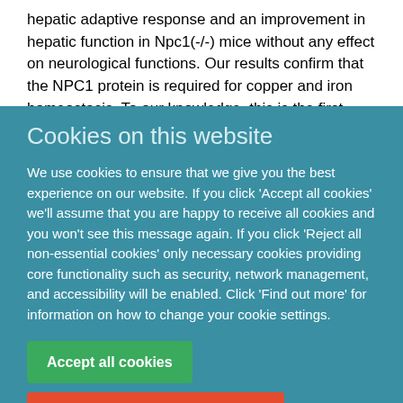hepatic adaptive response and an improvement in hepatic function in Npc1(-/-) mice without any effect on neurological functions. Our results confirm that the NPC1 protein is required for copper and iron homeostasis. To our knowledge, this is the first report documenting the hepatic adaptive
Cookies on this website
We use cookies to ensure that we give you the best experience on our website. If you click 'Accept all cookies' we'll assume that you are happy to receive all cookies and you won't see this message again. If you click 'Reject all non-essential cookies' only necessary cookies providing core functionality such as security, network management, and accessibility will be enabled. Click 'Find out more' for information on how to change your cookie settings.
Accept all cookies
Reject all non-essential cookies
Find out more